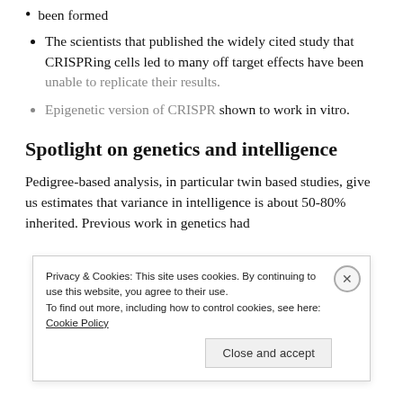been formed
The scientists that published the widely cited study that CRISPRing cells led to many off target effects have been unable to replicate their results.
Epigenetic version of CRISPR shown to work in vitro.
Spotlight on genetics and intelligence
Pedigree-based analysis, in particular twin based studies, give us estimates that variance in intelligence is about 50-80% inherited. Previous work in genetics had
Privacy & Cookies: This site uses cookies. By continuing to use this website, you agree to their use.
To find out more, including how to control cookies, see here: Cookie Policy
Close and accept